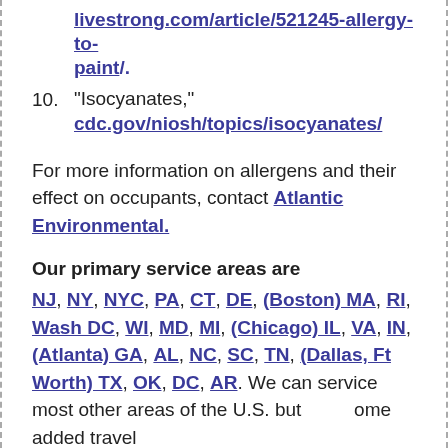livestrong.com/article/521245-allergy-to-paint/.
10. "Isocyanates," cdc.gov/niosh/topics/isocyanates/
For more information on allergens and their effect on occupants, contact Atlantic Environmental.
Our primary service areas are
NJ, NY, NYC, PA, CT, DE, (Boston) MA, RI, Wash DC, WI, MD, MI, (Chicago) IL, VA, IN, (Atlanta) GA, AL, NC, SC, TN, (Dallas, Ft Worth) TX, OK, DC, AR. We can service most other areas of the U.S. but some added travel